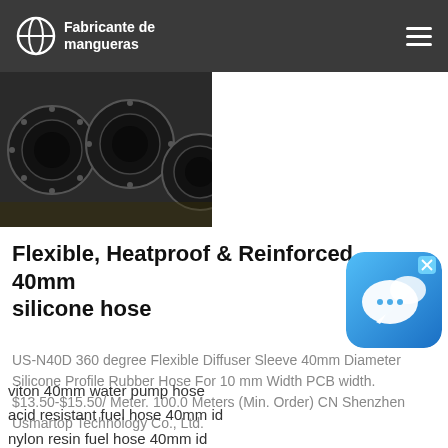Fabricante de mangueras
[Figure (photo): Close-up photo of black rubber hose ends / flanged pipe fittings from above]
Flexible, Heatproof & Reinforced 40mm silicone hose
[Figure (other): Blue chat/messaging app widget icon with an X close button]
US-N40D 360 degree Flexible Diffuser Sleeve 40mm Diameter Silicone Profile Rubber Hose For 10 mm Width PCB width. $13.50-$15.50/ Meter. 100.0 Meters (Min. Order) CN Shenzhen Usmartop Technology Co., Ltd.
viton 40mm water pump hose
acid resistant fuel hose 40mm id
nylon resin fuel hose 40mm id